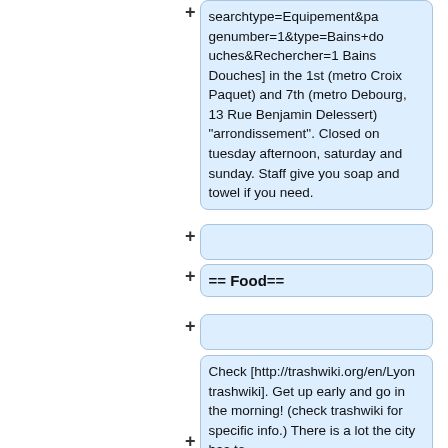searchtype=Equipement&pagenumber=1&type=Bains+douches&Rechercher=1 Bains Douches] in the 1st (metro Croix Paquet) and 7th (metro Debourg, 13 Rue Benjamin Delessert) "arrondissement". Closed on tuesday afternoon, saturday and sunday. Staff give you soap and towel if you need.
== Food==
Check [http://trashwiki.org/en/Lyon trashwiki]. Get up early and go in the morning! (check trashwiki for specific info.) There is a lot the city has to